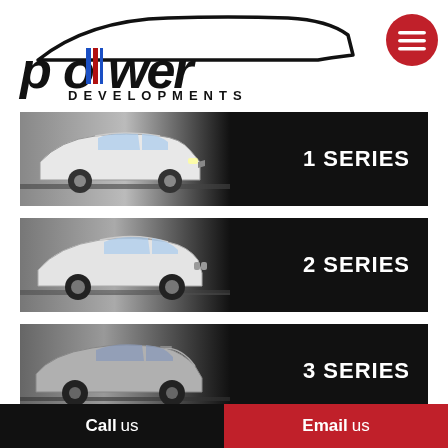[Figure (logo): Power Developments logo with car silhouette outline and BMW M-color stripes, plus hamburger menu button in red circle]
[Figure (infographic): 1 SERIES banner with white BMW 1 Series hatchback on dark background]
[Figure (infographic): 2 SERIES banner with white BMW 2 Series coupe on dark background]
[Figure (infographic): 3 SERIES banner with grey BMW 3 Series sedan on dark background]
[Figure (infographic): 4 SERIES banner partially visible at bottom]
Call us
Email us